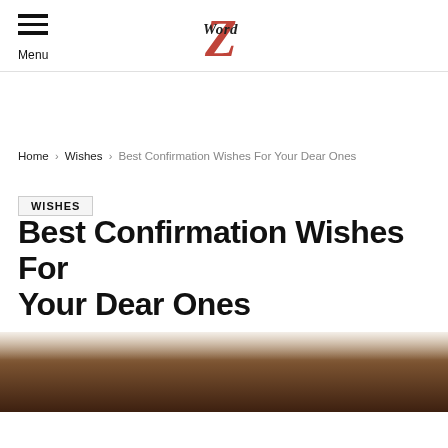Menu | WordZ logo
Home › Wishes › Best Confirmation Wishes For Your Dear Ones
WISHES
Best Confirmation Wishes For Your Dear Ones
[Figure (photo): Blurred outdoor/nature photo in warm sepia/brown tones used as hero image for the article]